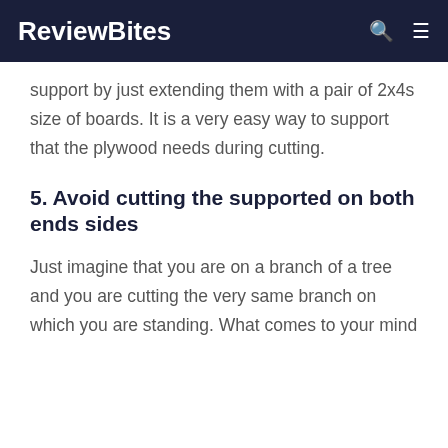ReviewBites
support by just extending them with a pair of 2x4s size of boards. It is a very easy way to support that the plywood needs during cutting.
5. Avoid cutting the supported on both ends sides
Just imagine that you are on a branch of a tree and you are cutting the very same branch on which you are standing. What comes to your mind